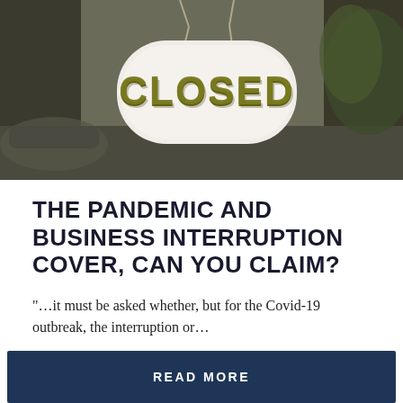[Figure (photo): A white oval 'CLOSED' sign with dark olive/gold lettering hanging in a window, blurred background showing a car and greenery. The sign is suspended by chains.]
THE PANDEMIC AND BUSINESS INTERRUPTION COVER, CAN YOU CLAIM?
"…it must be asked whether, but for the Covid-19 outbreak, the interruption or…"
READ MORE